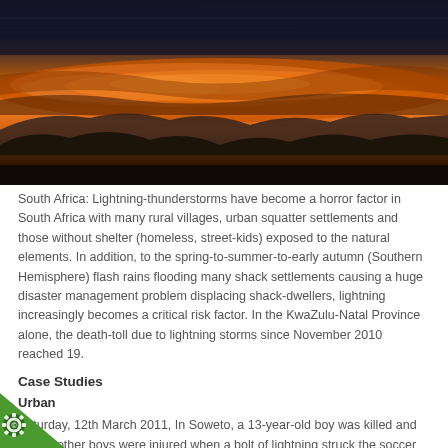[Figure (photo): Dramatic sunset or storm sky over silhouetted mountain ridges, with vivid orange and red clouds against a dark sky]
South Africa: Lightning-thunderstorms have become a horror factor in South Africa with many rural villages, urban squatter settlements and those without shelter (homeless, street-kids) exposed to the natural elements. In addition, to the spring-to-summer-to-early autumn (Southern Hemisphere) flash rains flooding many shack settlements causing a huge disaster management problem displacing shack-dwellers, lightning increasingly becomes a critical risk factor. In the KwaZulu-Natal Province alone, the death-toll due to lightning storms since November 2010 reached 19.
Case Studies
Urban
Saturday, 12th March 2011, In Soweto, a 13-year-old boy was killed and twelve other boys were injured when a bolt of lightning struck the soccer field.
[Figure (logo): Green gear/cog icon with a copyright symbol inside, on a triangular green background in the bottom left corner]